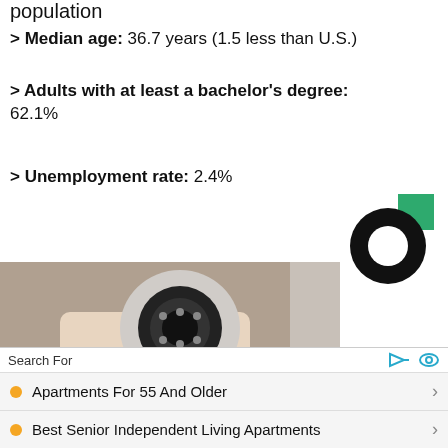population
> Median age: 36.7 years (1.5 less than U.S.)
> Adults with at least a bachelor's degree: 62.1%
> Unemployment rate: 2.4%
[Figure (logo): Black and green donut/pie chart logo (Stacker or similar brand)]
[Figure (photo): Photo of a person holding a white Wi-Fi security camera]
Search For
Apartments For 55 And Older
Best Senior Independent Living Apartments